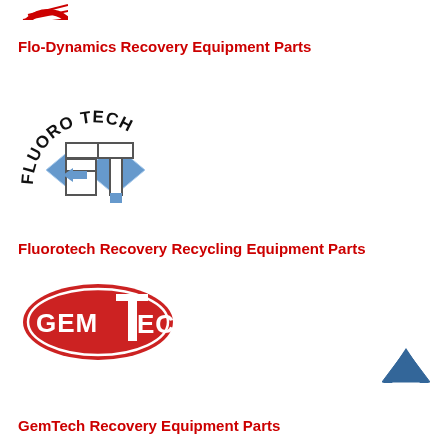[Figure (logo): Partial red circular logo at top left (cropped)]
Flo-Dynamics Recovery Equipment Parts
[Figure (logo): Fluoro Tech logo: arched text 'FLUORO TECH' above stylized F/T letters with blue diamond shapes]
Fluorotech Recovery Recycling Equipment Parts
[Figure (logo): GemTech logo: red oval with white text 'GEMTECH' and large T letter]
[Figure (other): Up chevron/caret navigation arrow in dark cyan-blue]
GemTech Recovery Equipment Parts